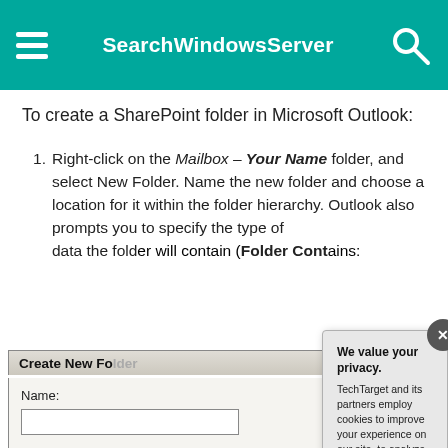SearchWindowsServer
To create a SharePoint folder in Microsoft Outlook:
Right-click on the Mailbox – Your Name folder, and select New Folder. Name the new folder and choose a location for it within the folder hierarchy. Outlook also prompts you to specify the type of data the folder will contain (Folder Contains: Folder Content)
[Figure (screenshot): Screenshot of Microsoft Outlook 'Create New Folder' dialog showing Name field, Folder contains dropdown set to 'Mail and Post', and folder tree with Mail and Public options. Overlaid by a privacy consent modal from TechTarget saying 'We value your privacy.' with options to manage settings or click OK/Settings buttons.]